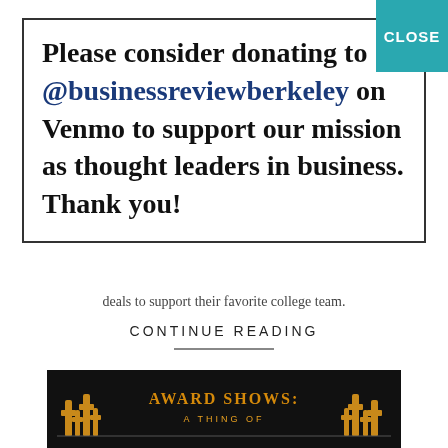Please consider donating to @businessreviewberkeley on Venmo to support our mission as thought leaders in business. Thank you!
deals to support their favorite college team.
CONTINUE READING
[Figure (photo): Award Shows: A Thing Of banner image with trophy figures on dark background]